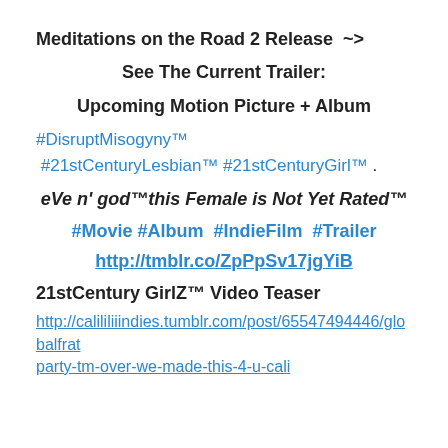Meditations on the Road 2 Release  ~>
See The Current Trailer:
Upcoming Motion Picture + Album
#DisruptMisogyny™
 #21stCenturyLesbian™ #21stCenturyGirl™ .
eVe n' god™this Female is Not Yet Rated™
#Movie #Album  #IndieFilm  #Trailer
http://tmblr.co/ZpPpSv17jgYiB
21stCentury GirlZ™ Video Teaser
http://calililiiindies.tumblr.com/post/65547494446/globalfratparty-tm-over-we-made-this-4-u-cali